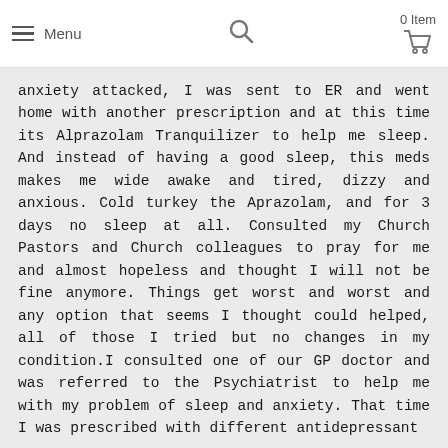Menu | Search | 0 Item | Cart
anxiety attacked, I was sent to ER and went home with another prescription and at this time its Alprazolam Tranquilizer to help me sleep. And instead of having a good sleep, this meds makes me wide awake and tired, dizzy and anxious. Cold turkey the Aprazolam, and for 3 days no sleep at all. Consulted my Church Pastors and Church colleagues to pray for me and almost hopeless and thought I will not be fine anymore. Things get worst and worst and any option that seems I thought could helped, all of those I tried but no changes in my condition.I consulted one of our GP doctor and was referred to the Psychiatrist to help me with my problem of sleep and anxiety. That time I was prescribed with different antidepressant